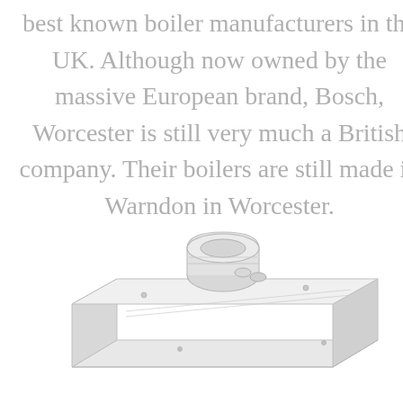best known boiler manufacturers in the UK. Although now owned by the massive European brand, Bosch, Worcester is still very much a British company. Their boilers are still made in Warndon in Worcester.
[Figure (engineering-diagram): Technical illustration of a Worcester boiler unit shown from a top-angled perspective, rendered in light grey/white tones, showing the top surface with pipe connections and circular fitting.]